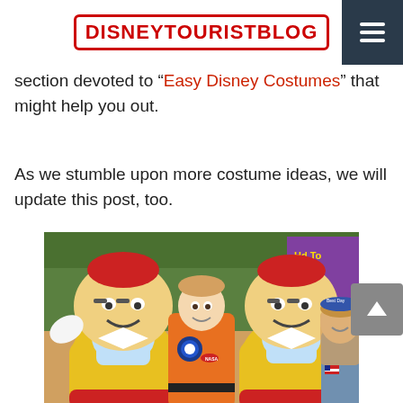DISNEYTOURISTBLOG
section devoted to “Easy Disney Costumes” that might help you out.
As we stumble upon more costume ideas, we will update this post, too.
[Figure (photo): Two people dressed in orange NASA astronaut and blue coverall costumes posing with two Tweedledee/Tweedledum Disney character mascots wearing yellow shirts and red hats at a Disney park Halloween party event.]